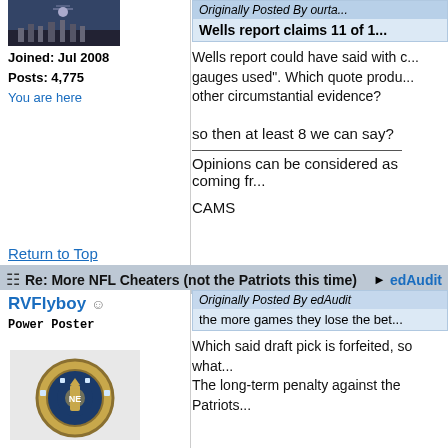[Figure (photo): User avatar image - space/city themed thumbnail]
Joined: Jul 2008
Posts: 4,775
You are here
Wells report claims 11 of 1...
Wells report could have said with ... gauges used". Which quote produ... other circumstantial evidence?
so then at least 8 we can say?
Opinions can be considered as coming fr...
CAMS
Return to Top
Re: More NFL Cheaters (not the Patriots this time) edAudit
RVFlyboy
Power Poster
[Figure (photo): New England Patriots Super Bowl ring image]
Originally Posted By edAudit
the more games they lose the bet...
Which said draft pick is forfeited, so what... The long-term penalty against the Patriots...